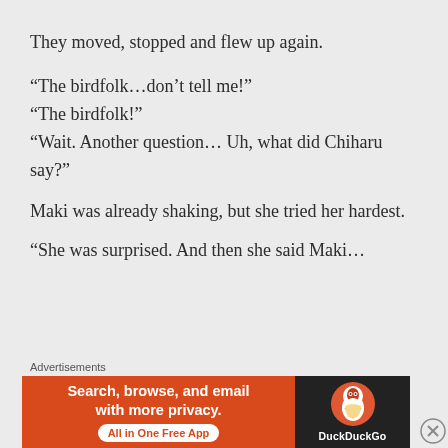They moved, stopped and flew up again.
“The birdfolk…don’t tell me!”
“The birdfolk!”
“Wait. Another question… Uh, what did Chiharu say?”
Maki was already shaking, but she tried her hardest.
“She was surprised. And then she said Maki…
Advertisements
[Figure (other): DuckDuckGo advertisement banner: orange left side with text 'Search, browse, and email with more privacy.' and 'All in One Free App' button; dark right side with DuckDuckGo logo and name.]